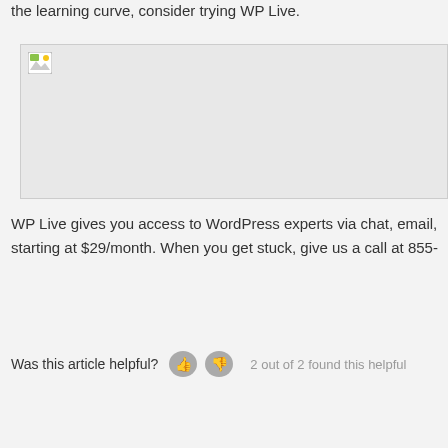the learning curve, consider trying WP Live.
[Figure (photo): Broken/missing image placeholder with small image icon in top-left corner, large grey rectangle]
WP Live gives you access to WordPress experts via chat, email, starting at $29/month. When you get stuck, give us a call at 855-
Was this article helpful?   2 out of 2 found this helpful